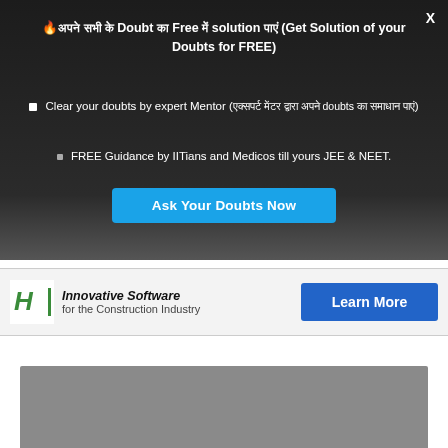🔥अपने सभी के Doubt का Free में solution पाएं (Get Solution of your Doubts for FREE)
Clear your doubts by expert Mentor (एक्सपर्ट मेंटर द्वारा अपने doubts का समाधान पाएं)
FREE Guidance by IITians and Medicos till yours JEE & NEET.
Ask Your Doubts Now
[Figure (screenshot): Advertisement banner for Innovative Software for the Construction Industry with a Learn More button]
[Figure (screenshot): Gray content area with Contact us bubble, Telegram blue circle button, and a loading spinner]